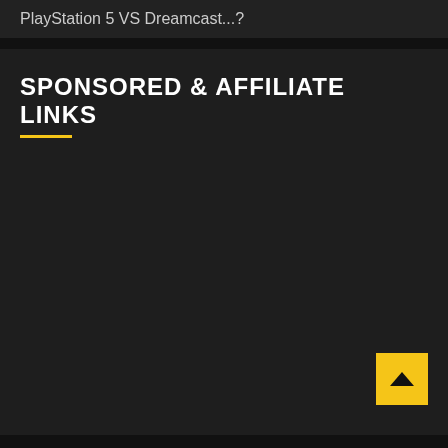PlayStation 5 VS Dreamcast...?
SPONSORED & AFFILIATE LINKS